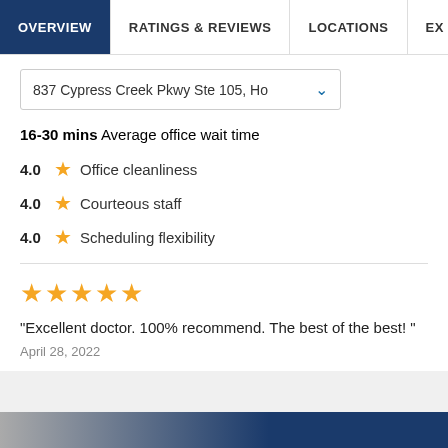OVERVIEW | RATINGS & REVIEWS | LOCATIONS | EX
837 Cypress Creek Pkwy Ste 105, Ho
16-30 mins Average office wait time
4.0 ★ Office cleanliness
4.0 ★ Courteous staff
4.0 ★ Scheduling flexibility
★★★★★
"Excellent doctor. 100% recommend. The best of the best!"
April 28, 2022